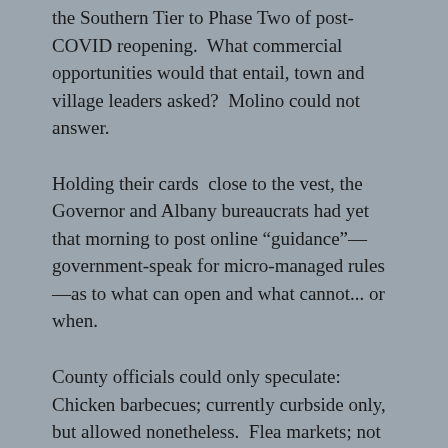the Southern Tier to Phase Two of post-COVID reopening.  What commercial opportunities would that entail, town and village leaders asked?  Molino could not answer.
Holding their cards  close to the vest, the Governor and Albany bureaucrats had yet that morning to post online “guidance”—government-speak for micro-managed rules—as to what can open and what cannot... or when.
County officials could only speculate:  Chicken barbecues; currently curbside only, but allowed nonetheless.  Flea markets; not right now.  High school graduations; still up in the air.  For the latter, Molino said some have suggested a